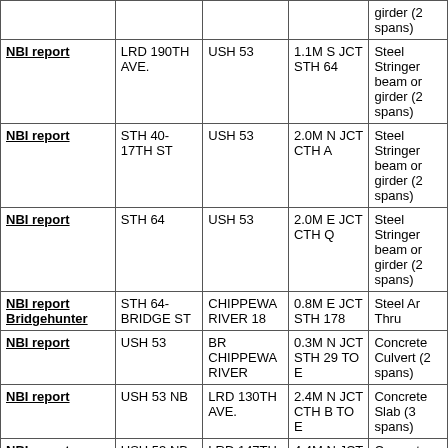| Link | Road | Feature | Location | Structure |
| --- | --- | --- | --- | --- |
|  |  |  |  | girder (2 spans) |
| NBI report | LRD 190TH AVE. | USH 53 | 1.1M S JCT STH 64 | Steel Stringer beam or girder (2 spans) |
| NBI report | STH 40-17TH ST | USH 53 | 2.0M N JCT CTH A | Steel Stringer beam or girder (2 spans) |
| NBI report | STH 64 | USH 53 | 2.0M E JCT CTH Q | Steel Stringer beam or girder (2 spans) |
| NBI report Bridgehunter | STH 64-BRIDGE ST | CHIPPEWA RIVER 18 | 0.8M E JCT STH 178 | Steel Ar Thru |
| NBI report | USH 53 | BR CHIPPEWA RIVER | 0.3M N JCT STH 29 TO E | Concrete Culvert (2 spans) |
| NBI report | USH 53 NB | LRD 130TH AVE. | 2.4M N JCT CTH B TO E | Concrete Slab (3 spans) |
| NBI report | USH 53 NB | LRD 147TH ST. | 4.4M N JCT CTH B TO E | Concrete Slab (3 spans) |